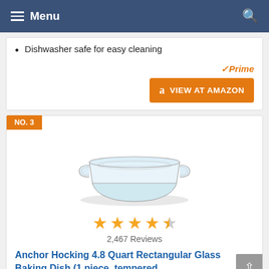Menu
Dishwasher safe for easy cleaning
Prime
VIEW AT AMAZON
NO. 3
[Figure (photo): Glass rectangular baking dish with handles, transparent, viewed from above at an angle]
2,467 Reviews
Anchor Hocking 4.8 Quart Rectangular Glass Baking Dish (1 piece, tempered